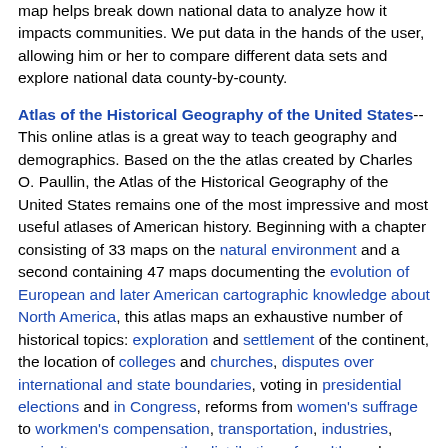map helps break down national data to analyze how it impacts communities. We put data in the hands of the user, allowing him or her to compare different data sets and explore national data county-by-county.
Atlas of the Historical Geography of the United States-- This online atlas is a great way to teach geography and demographics. Based on the the atlas created by Charles O. Paullin, the Atlas of the Historical Geography of the United States remains one of the most impressive and most useful atlases of American history. Beginning with a chapter consisting of 33 maps on the natural environment and a second containing 47 maps documenting the evolution of European and later American cartographic knowledge about North America, this atlas maps an exhaustive number of historical topics: exploration and settlement of the continent, the location of colleges and churches, disputes over international and state boundaries, voting in presidential elections and in Congress, reforms from women's suffrage to workmen's compensation, transportation, industries, agriculture, commerce, the distribution of wealth, and military history.